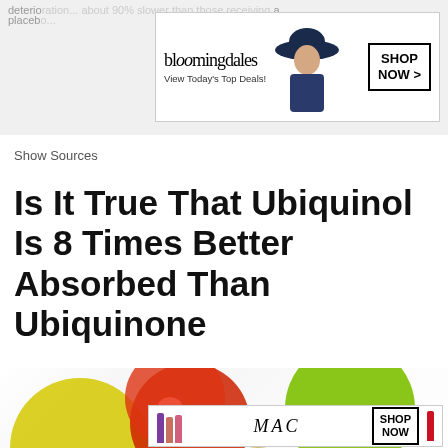deterioration... about 90% slower than those receiving a placebo...
[Figure (screenshot): Bloomingdales advertisement banner: logo text 'bloomingdales', tagline 'View Today's Top Deals!', model photo wearing hat, 'SHOP NOW >' button]
Show Sources
Is It True That Ubiquinol Is 8 Times Better Absorbed Than Ubiquinone
[Figure (photo): Colorful fruits (red apple, green apple, yellow apple) and supplement capsules on white background]
[Figure (screenshot): MAC cosmetics advertisement with lipsticks (purple, pink, red), MAC logo, and 'SHOP NOW' button]